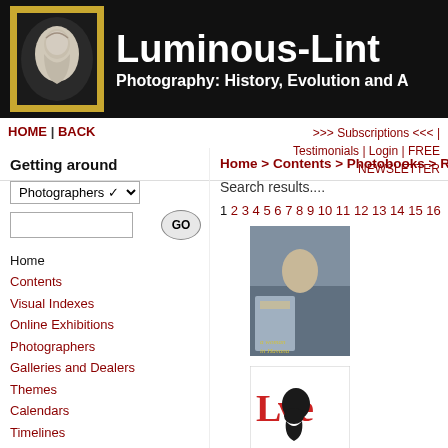[Figure (screenshot): Luminous-Lint website header with logo (bust portrait in gold frame) and site title]
HOME | BACK   >>> Subscriptions <<< | Testimonials | Login | FREE NEWSLETTER
Getting around
Home > Contents > Photobooks > Re
Search results....
1 2 3 4 5 6 7 8 9 10 11 12 13 14 15 16
Home
Contents
Visual Indexes
Online Exhibitions
Photographers
Galleries and Dealers
Themes
Calendars
Timelines
Techniques
Library
Support
[Figure (photo): Book cover showing a person sitting, with title text overlay]
[Figure (photo): Book cover with 'Love' text in red and a black dog silhouette]